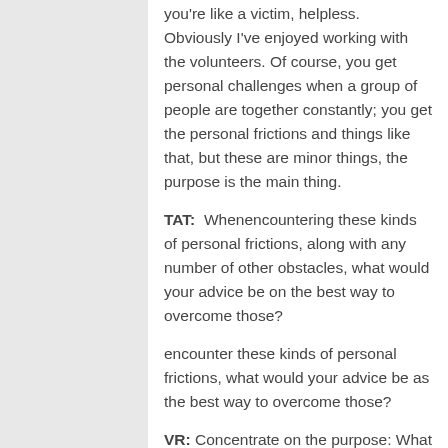you're like a victim, helpless. Obviously I've enjoyed working with the volunteers. Of course, you get personal challenges when a group of people are together constantly; you get the personal frictions and things like that, but these are minor things, the purpose is the main thing.
TAT:  Whenencountering these kinds of personal frictions, along with any number of other obstacles, what would your advice be on the best way to overcome those?
encounter these kinds of personal frictions, what would your advice be as the best way to overcome those?
VR:  Concentrate on the purpose: What it is that we're doing there? Also, some simple orientation and preparation of the volunteers,